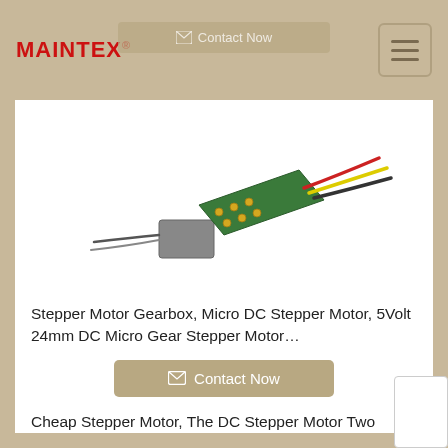MAINTEX®
[Figure (photo): A small green PCB circuit board with colored wires (red, yellow, black) attached, resembling a micro DC stepper motor gearbox controller module.]
Stepper Motor Gearbox, Micro DC Stepper Motor, 5Volt 24mm DC Micro Gear Stepper Motor…
Contact Now
Cheap Stepper Motor, The DC Stepper Motor Two